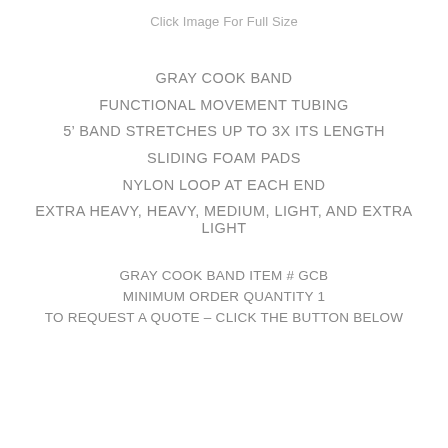Click Image For Full Size
GRAY COOK BAND
FUNCTIONAL MOVEMENT TUBING
5’ BAND STRETCHES UP TO 3X ITS LENGTH
SLIDING FOAM PADS
NYLON LOOP AT EACH END
EXTRA HEAVY, HEAVY, MEDIUM, LIGHT, AND EXTRA LIGHT
GRAY COOK BAND ITEM # GCB
MINIMUM ORDER QUANTITY 1
TO REQUEST A QUOTE – CLICK THE BUTTON BELOW